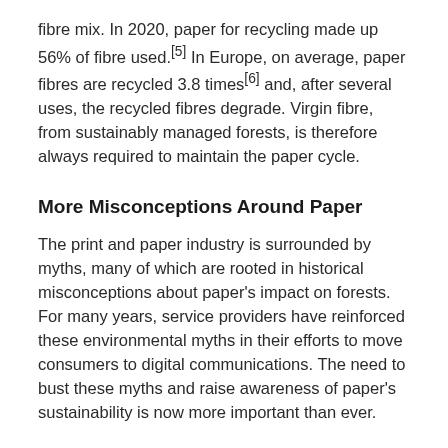fibre mix. In 2020, paper for recycling made up 56% of fibre used.[5] In Europe, on average, paper fibres are recycled 3.8 times[6] and, after several uses, the recycled fibres degrade. Virgin fibre, from sustainably managed forests, is therefore always required to maintain the paper cycle.
More Misconceptions Around Paper
The print and paper industry is surrounded by myths, many of which are rooted in historical misconceptions about paper's impact on forests. For many years, service providers have reinforced these environmental myths in their efforts to move consumers to digital communications. The need to bust these myths and raise awareness of paper's sustainability is now more important than ever.